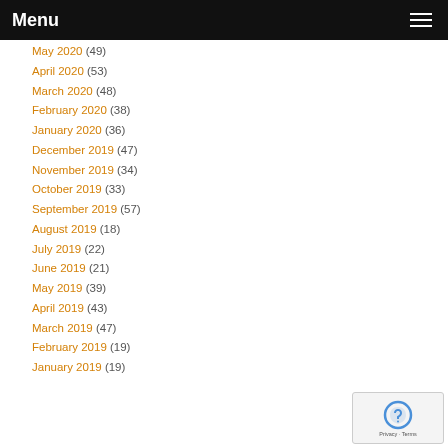Menu
May 2020 (49)
April 2020 (53)
March 2020 (48)
February 2020 (38)
January 2020 (36)
December 2019 (47)
November 2019 (34)
October 2019 (33)
September 2019 (57)
August 2019 (18)
July 2019 (22)
June 2019 (21)
May 2019 (39)
April 2019 (43)
March 2019 (47)
February 2019 (19)
January 2019 (19)
[Figure (other): Google reCAPTCHA widget showing the reCAPTCHA icon with Privacy and Terms text]